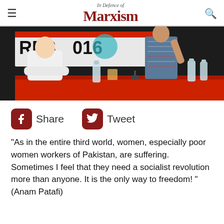In Defence of Marxism
[Figure (photo): Panel discussion at congress 2016 event. A man in a white t-shirt sits at a red-draped table with water bottles, and a woman in a patterned dress stands gesturing behind the table. A banner reading 'RES…016' is visible in the background.]
Share   Tweet
"As in the entire third world, women, especially poor women workers of Pakistan, are suffering. Sometimes I feel that they need a socialist revolution more than anyone. It is the only way to freedom! "(Anam Patafi)